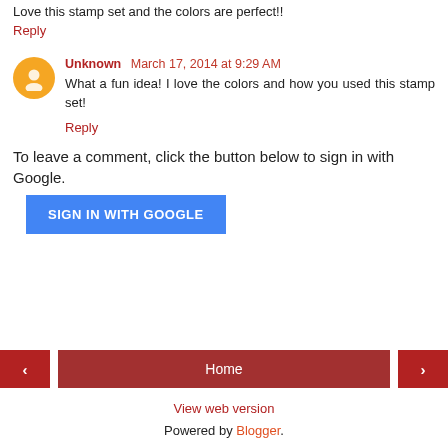Love this stamp set and the colors are perfect!!
Reply
Unknown  March 17, 2014 at 9:29 AM
What a fun idea! I love the colors and how you used this stamp set!
Reply
To leave a comment, click the button below to sign in with Google.
SIGN IN WITH GOOGLE
Home
View web version
Powered by Blogger.